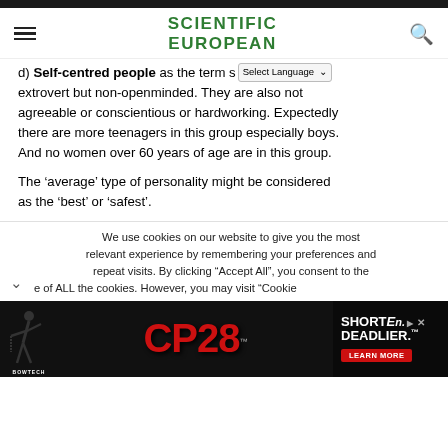SCIENTIFIC EUROPEAN
d) Self-centred people as the term suggests are extrovert but non-openminded. They are also not agreeable or conscientious or hardworking. Expectedly there are more teenagers in this group especially boys. And no women over 60 years of age are in this group.
The ‘average’ type of personality might be considered as the ‘best’ or ‘safest’.
We use cookies on our website to give you the most relevant experience by remembering your preferences and repeat visits. By clicking “Accept All”, you consent to the use of ALL the cookies. However, you may visit “Cookie
[Figure (photo): Bowtech CP28 advertisement banner with red CP28 logo text and SHORTEN. DEADLIER. tagline]